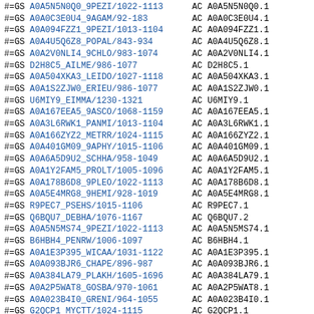#=GS A0A5N5N0Q0_9PEZI/1022-1113   AC A0A5N5N0Q0.1
#=GS A0A0C3E0U4_9AGAM/92-183      AC A0A0C3E0U4.1
#=GS A0A094FZZ1_9PEZI/1013-1104   AC A0A094FZZ1.1
#=GS A0A4U5Q6Z8_POPAL/843-934     AC A0A4U5Q6Z8.1
#=GS A0A2V0NLI4_9CHLO/983-1074    AC A0A2V0NLI4.1
#=GS D2H8C5_AILME/986-1077        AC D2H8C5.1
#=GS A0A504XKA3_LEIDO/1027-1118   AC A0A504XKA3.1
#=GS A0A1S2ZJW0_ERIEU/986-1077    AC A0A1S2ZJW0.1
#=GS U6MIY9_EIMMA/1230-1321       AC U6MIY9.1
#=GS A0A167EEA5_9ASCO/1068-1159   AC A0A167EEA5.1
#=GS A0A3L6RWK1_PANMI/1013-1104   AC A0A3L6RWK1.1
#=GS A0A166ZYZ2_METRR/1024-1115   AC A0A166ZYZ2.1
#=GS A0A401GM09_9APHY/1015-1106   AC A0A401GM09.1
#=GS A0A6A5D9U2_SCHHA/958-1049    AC A0A6A5D9U2.1
#=GS A0A1Y2FAM5_PROLT/1005-1096   AC A0A1Y2FAM5.1
#=GS A0A178B6D8_9PLEO/1022-1113   AC A0A178B6D8.1
#=GS A0A5E4MRG8_9HEMI/928-1019    AC A0A5E4MRG8.1
#=GS R9PEC7_PSEHS/1015-1106       AC R9PEC7.1
#=GS Q6BQU7_DEBHA/1076-1167       AC Q6BQU7.2
#=GS A0A5N5MS74_9PEZI/1022-1113   AC A0A5N5MS74.1
#=GS B6HBH4_PENRW/1006-1097       AC B6HBH4.1
#=GS A0A1E3P395_WICAA/1031-1122   AC A0A1E3P395.1
#=GS A0A093BJR6_CHAPE/896-987     AC A0A093BJR6.1
#=GS A0A384LA79_PLAKH/1605-1696   AC A0A384LA79.1
#=GS A0A2P5WAT8_GOSBA/970-1061    AC A0A2P5WAT8.1
#=GS A0A023B4I0_GRENI/964-1055    AC A0A023B4I0.1
#=GS G2QCP1_MYCTT/1024-1115       AC G2QCP1.1
#=GS A0A093EH06_9AVES/945-1036    AC A0A093EH06.1
#=GS A0A668SXT3_OREAU/993-1084    AC A0A668SXT3.1
#=GS A0A3N4KSP8_9PEZI/1004-1095   AC A0A3N4KSP8.1
#=GS A0A2K5N0C7_CERAT/986-1077    AC A0A2K5N0C7.1
#=GS A0A2I4AZ65_9TELE/1006-1097   AC A0A2I4AZ65.1
#=GS M4DYV5_BRARP/1015-1106       AC M4DYV5.1